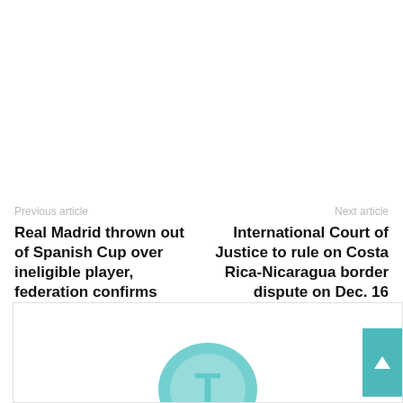Previous article
Real Madrid thrown out of Spanish Cup over ineligible player, federation confirms
Next article
International Court of Justice to rule on Costa Rica-Nicaragua border dispute on Dec. 16
[Figure (logo): Teal circular logo with letter T, partially visible at bottom of page inside an advertisement box]